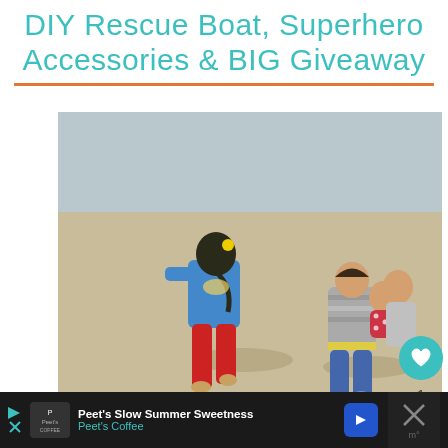DIY Rescue Boat, Superhero Accessories & BIG Giveaway
[Figure (photo): Three children running and playing on a sandy beach. One child wears a blue hoodie with yellow detail and red pants, another carries a toddler in a red polka dot outfit, both wearing striped tops.]
My girls like picking out their own clothes. I have one that
[Figure (other): WHAT'S NEXT widget showing '50 Things to Put in a Lun...' with a small thumbnail image]
Peet's Slow Summer Sweetness Peet's Coffee — advertisement banner